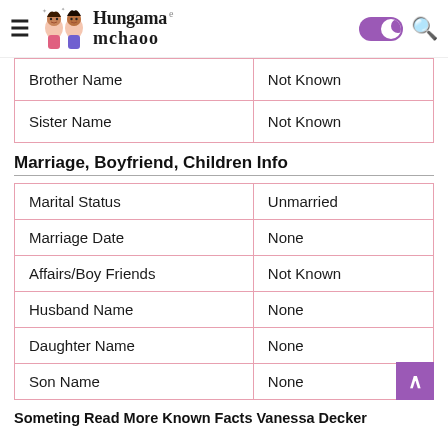Hungama e mchaoo
|  |  |
| --- | --- |
| Brother Name | Not Known |
| Sister Name | Not Known |
Marriage, Boyfriend, Children Info
|  |  |
| --- | --- |
| Marital Status | Unmarried |
| Marriage Date | None |
| Affairs/Boy Friends | Not Known |
| Husband Name | None |
| Daughter Name | None |
| Son Name | None |
Someting Read More Known Facts Vanessa Decker